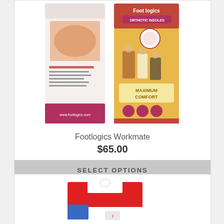[Figure (photo): Two Footlogics Workmate orthotic insole product boxes side by side — one white with red accents showing insole, one yellow with people and 'Maximum Comfort' text]
Footlogics Workmate
$65.00
SELECT OPTIONS
[Figure (photo): Partial view of a red and white product card/package with a hanger hole at top]